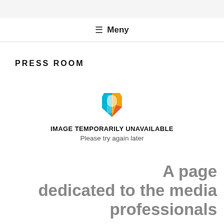≡ Meny
PRESS ROOM
[Figure (illustration): Colorful polygon/letter P logo icon above an 'image temporarily unavailable' placeholder message]
IMAGE TEMPORARILY UNAVAILABLE
Please try again later
A page dedicated to the media professionals